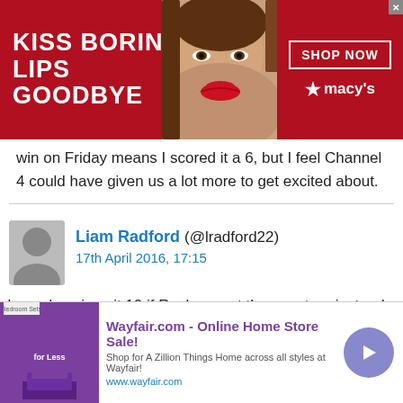[Figure (screenshot): Macy's advertisement banner: 'KISS BORING LIPS GOODBYE' with SHOP NOW button and Macy's logo on a red background with a woman's face]
win on Friday means I scored it a 6, but I feel Channel 4 could have given us a lot more to get excited about.
Liam Radford (@lradford22)
17th April 2016, 17:15
I woudve given it 10 if Rosberg got the puncture instead of Ricciardo.
[Figure (screenshot): Wayfair.com advertisement: 'Online Home Store Sale!' with purple themed bedroom image, shop button, close button, and www.wayfair.com URL]